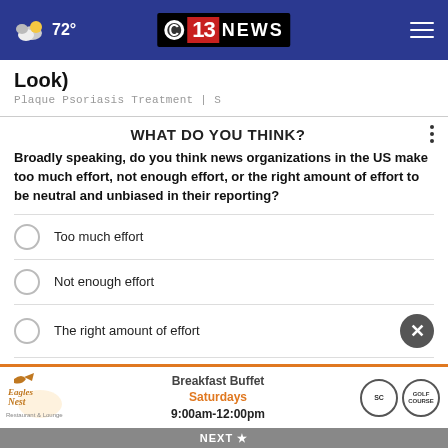72° — CBS 13 NEWS
Look)
Plaque Psoriasis Treatment | S
WHAT DO YOU THINK?
Broadly speaking, do you think news organizations in the US make too much effort, not enough effort, or the right amount of effort to be neutral and unbiased in their reporting?
Too much effort
Not enough effort
The right amount of effort
[Figure (screenshot): Eagles Nest Restaurant & Lounge ad banner: Breakfast Buffet Saturdays 9:00am-12:00pm]
NEXT ★